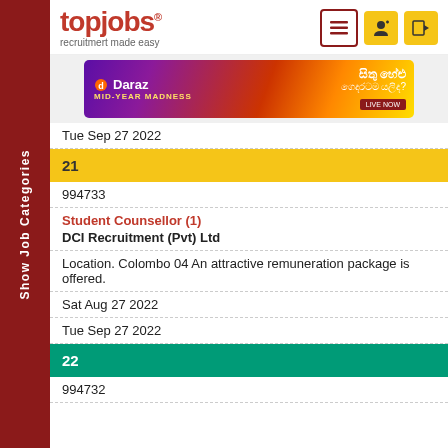[Figure (logo): topjobs logo with text 'recruitmert made easy']
[Figure (infographic): Daraz MID-YEAR MADNESS advertisement banner]
Tue Sep 27 2022
21
994733
Student Counsellor (1)
DCI Recruitment (Pvt) Ltd
Location. Colombo 04 An attractive remuneration package is offered.
Sat Aug 27 2022
Tue Sep 27 2022
22
994732
Show Job Categories